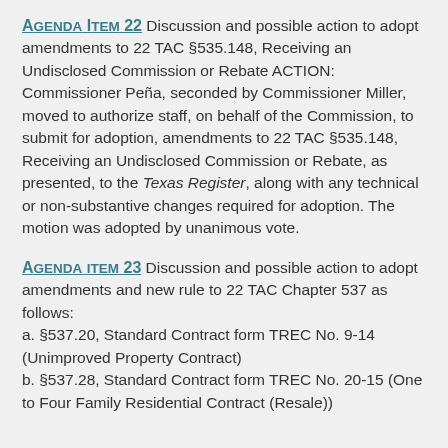Agenda Item 22 Discussion and possible action to adopt amendments to 22 TAC §535.148, Receiving an Undisclosed Commission or Rebate ACTION: Commissioner Peña, seconded by Commissioner Miller, moved to authorize staff, on behalf of the Commission, to submit for adoption, amendments to 22 TAC §535.148, Receiving an Undisclosed Commission or Rebate, as presented, to the Texas Register, along with any technical or non-substantive changes required for adoption.  The motion was adopted by unanimous vote.
Agenda item 23 Discussion and possible action to adopt amendments and new rule to 22 TAC Chapter 537 as follows: a. §537.20, Standard Contract form TREC No. 9-14 (Unimproved Property Contract) b. §537.28, Standard Contract form TREC No. 20-15 (One to Four Family Residential Contract (Resale))